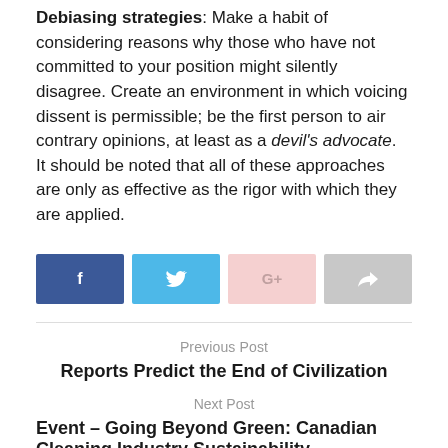Debiasing strategies: Make a habit of considering reasons why those who have not committed to your position might silently disagree. Create an environment in which voicing dissent is permissible; be the first person to air contrary opinions, at least as a devil's advocate. It should be noted that all of these approaches are only as effective as the rigor with which they are applied.
[Figure (infographic): Row of four social share buttons: Facebook (dark blue), Twitter (light blue), Google+ (light pink), and Share (gray)]
Previous Post
Reports Predict the End of Civilization
Next Post
Event – Going Beyond Green: Canadian Cleaning Industry Sustainability Conference